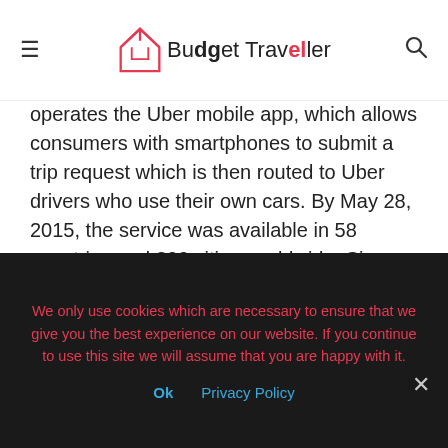Budget Traveller
operates the Uber mobile app, which allows consumers with smartphones to submit a trip request which is then routed to Uber drivers who use their own cars. By May 28, 2015, the service was available in 58 countries and 300 cities worldwide. Since Uber’s launch, several other companies have copied its business model, a trend that has come to be referred to as “Uberification”.
Uber was founded as “UberCab” by Travis Kalanick and Garrett Camp in 2009 and the app was released the following June. Beginning in 2012, Uber expanded internationally. In 2014, it experimented with carpooling features, and made other
We only use cookies which are necessary to ensure that we give you the best experience on our website. If you continue to use this site we will assume that you are happy with it.
Ok   Privacy Policy